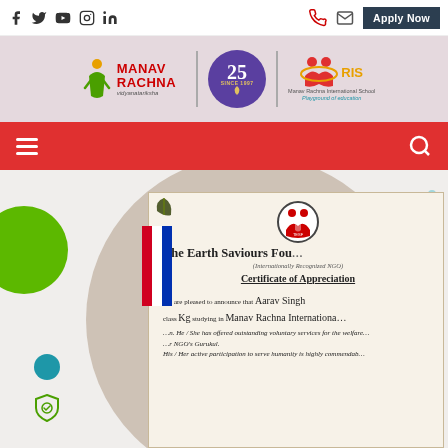Social icons: Facebook, Twitter, YouTube, Instagram, LinkedIn | Phone, Mail, Apply Now
[Figure (logo): Manav Rachna Vidyanatariksha logo, 25th anniversary badge, MRIS Manav Rachna International School Playground of education logo]
Navigation bar with hamburger menu and search icon
[Figure (photo): Certificate of Appreciation from The Earth Saviours Foundation (Internationally Recognized NGO) awarded to Aarav Singh, class KG, studying in Manav Rachna International School. Text: We are pleased to announce that Aarav Singh class KG studying in Manav Rachna International... He/She has offered outstanding voluntary services for the welfare... NGO's Gurukul. His/Her active participation to serve humanity is highly commendable.]